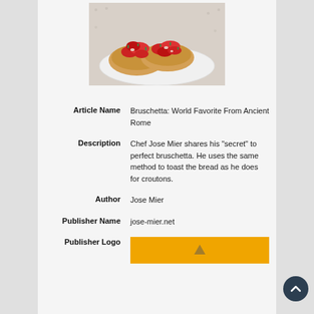[Figure (photo): Photo of bruschetta — toasted bread topped with tomatoes and herbs on a white plate with lace tablecloth]
| Article Name | Bruschetta: World Favorite From Ancient Rome |
| Description | Chef Jose Mier shares his "secret" to perfect bruschetta. He uses the same method to toast the bread as he does for croutons. |
| Author | Jose Mier |
| Publisher Name | jose-mier.net |
| Publisher Logo | (logo image) |